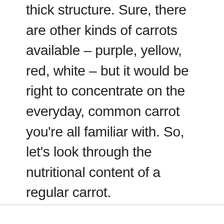thick structure. Sure, there are other kinds of carrots available – purple, yellow, red, white – but it would be right to concentrate on the everyday, common carrot you're all familiar with. So, let's look through the nutritional content of a regular carrot.